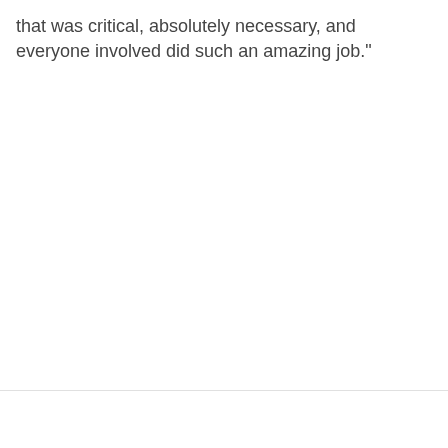that was critical, absolutely necessary, and everyone involved did such an amazing job."